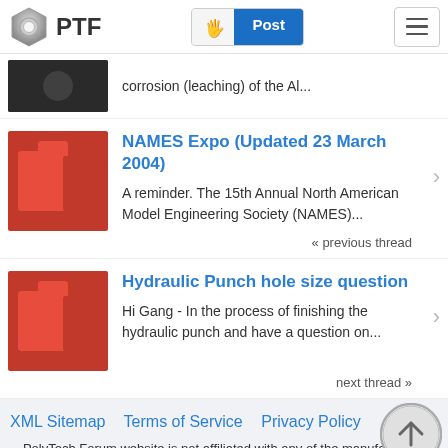PTF | Post
corrosion (leaching) of the Al...
NAMES Expo (Updated 23 March 2004)
A reminder. The 15th Annual North American Model Engineering Society (NAMES)...
« previous thread
Hydraulic Punch hole size question
Hi Gang - In the process of finishing the hydraulic punch and have a question on...
next thread »
XML Sitemap   Terms of Service   Privacy Policy
PolyTech Forum website is not affiliated with any of the manufacturers or service providers discussed here. All logos and trade names are the property of their respective owners.